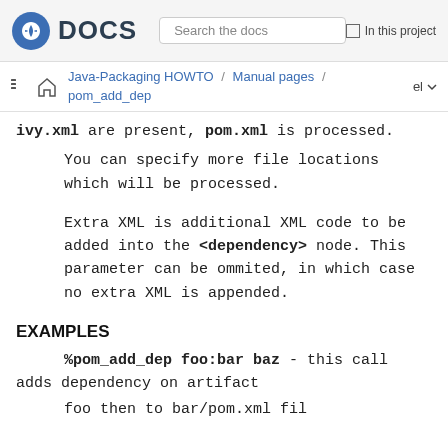Fedora DOCS  Search the docs  In this project
Java-Packaging HOWTO / Manual pages / pom_add_dep  el
ivy.xml are present, pom.xml is processed.
You can specify more file locations which will be processed.
Extra XML is additional XML code to be added into the <dependency> node. This parameter can be ommited, in which case no extra XML is appended.
EXAMPLES
%pom_add_dep foo:bar baz - this call adds dependency on artifact foo then to bar/pom.xml fil